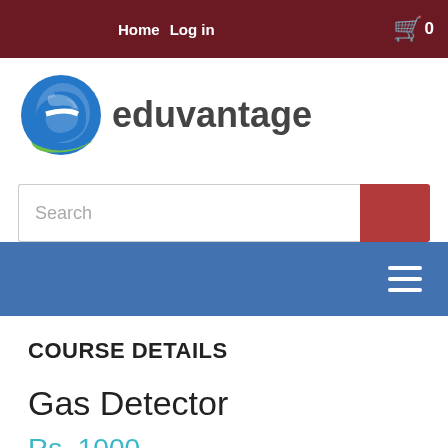Home  Log in
[Figure (logo): Eduvantage logo with blue and green circular icon and dark grey text reading 'eduvantage']
Search
COURSE DETAILS
Gas Detector
Rs. 1000